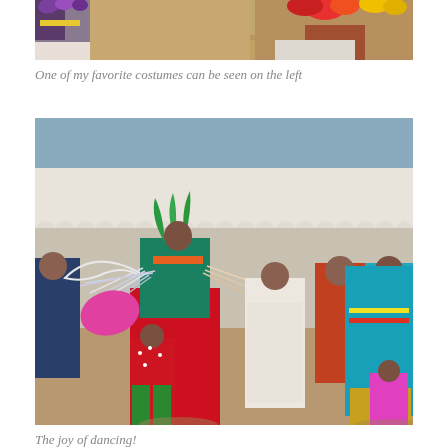[Figure (photo): Top portion of a photo showing Native American dancers in colorful traditional costumes with feathers against a sandy ground background]
One of my favorite costumes can be seen on the left
[Figure (photo): Photo of Native American powwow dancers in vibrant traditional regalia including feathered outfits, colorful ribbons and fringe, red satin clothing, beaded garments, with a white tent canopy in the background and blue sky]
The joy of dancing!